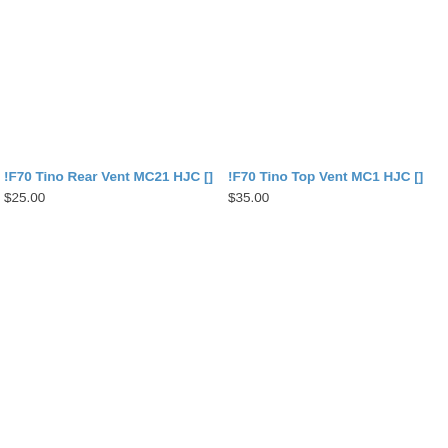!F70 Tino Rear Vent MC21 HJC []
$25.00
!F70 Tino Top Vent MC1 HJC []
$35.00